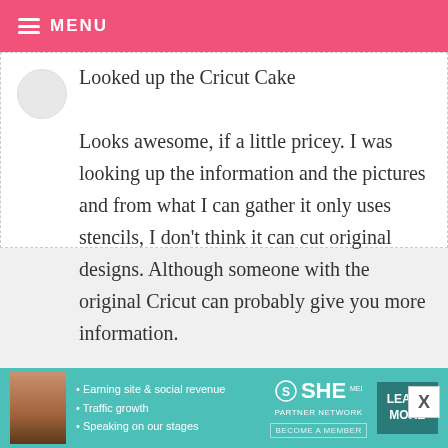MENU
Looked up the Cricut Cake

Looks awesome, if a little pricey.
I was looking up the information and the pictures and from what I can gather it only uses stencils, I don't think it can cut original designs. Although someone with the original Cricut can probably give you more information.
KRISTY — FEBRUARY 8, 2010 @ 5:59 PM   REPLY
[Figure (infographic): SHE Partner Network advertisement banner with bullet points: Earning site & social revenue, Traffic growth, Speaking on our stages. Includes LEARN MORE button.]